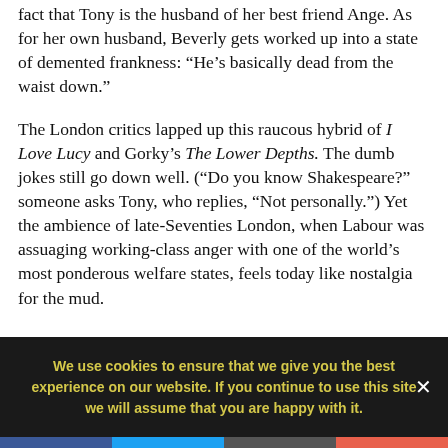fact that Tony is the husband of her best friend Ange. As for her own husband, Beverly gets worked up into a state of demented frankness: “He’s basically dead from the waist down.”
The London critics lapped up this raucous hybrid of I Love Lucy and Gorky’s The Lower Depths. The dumb jokes still go down well. (“Do you know Shakespeare?” someone asks Tony, who replies, “Not personally.”) Yet the ambience of late-Seventies London, when Labour was assuaging working-class anger with one of the world’s most ponderous welfare states, feels today like nostalgia for the mud.
We use cookies to ensure that we give you the best experience on our website. If you continue to use this site we will assume that you are happy with it.